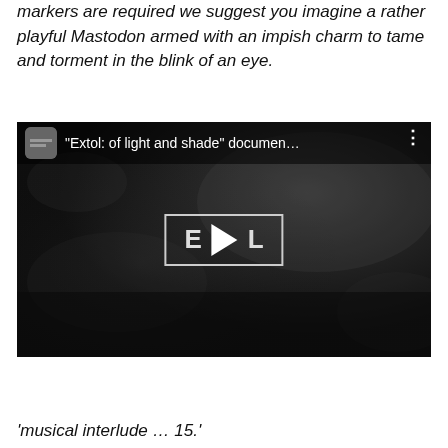markers are required we suggest you imagine a rather playful Mastodon armed with an impish charm to tame and torment in the blink of an eye.
[Figure (screenshot): YouTube video thumbnail showing 'Extol: of light and shade' documentary with dark moody background, play button, and E•L logo text in a rectangle]
'musical interlude … 15.'